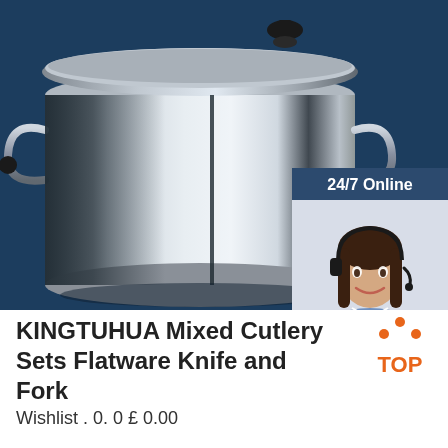[Figure (photo): Product photo of stainless steel cookware pot on dark blue background, with a 24/7 online chat widget overlay showing a female customer service representative with headset]
KINGTUHUA Mixed Cutlery Sets Flatware Knife and Fork
[Figure (logo): Orange TOP badge logo with triangle/chevron pattern above text TOP]
Wishlist . 0. 0 £ 0.00